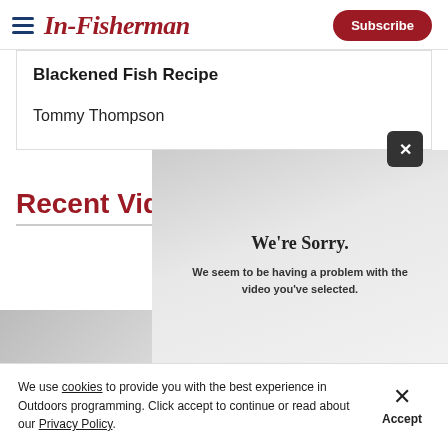In-Fisherman | Subscribe
Blackened Fish Recipe
Tommy Thompson
[Figure (screenshot): Video error overlay reading: We're Sorry. We seem to be having a problem with the video you've selected.]
Recent Video
[Figure (screenshot): Video thumbnail strip with gray and red sections]
We use cookies to provide you with the best experience in Outdoors programming. Click accept to continue or read about our Privacy Policy.